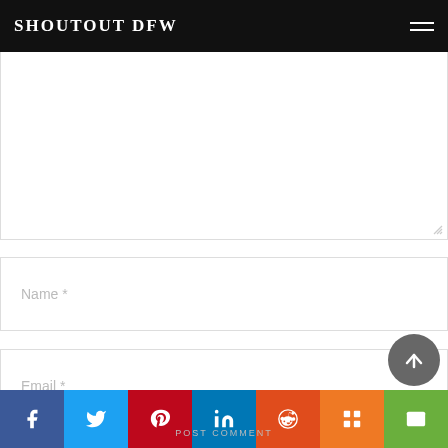SHOUTOUT DFW
Name *
Email *
Website
Save my name, email, and website in this browser for the next time I comment.